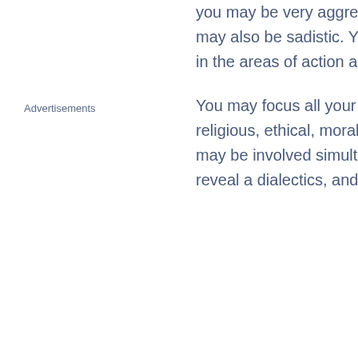you may be very aggressive may also be sadistic. Your pe in the areas of action and sex
You may focus all your energy religious, ethical, moral or, un may be involved simultaneo reveal a dialectics, and you w
Advertisements